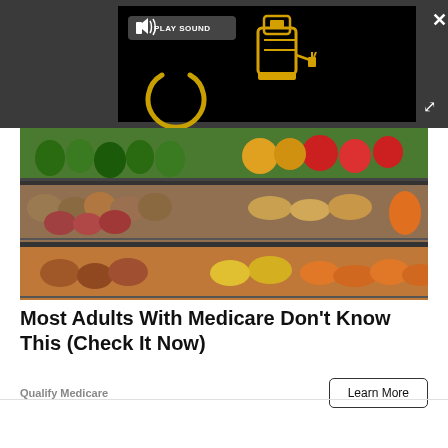[Figure (screenshot): Dark gray ad overlay banner with embedded video player showing black screen with 'PLAY SOUND' button and animated blender robot icon in gold/yellow. Close X button top-right, expand button middle-right.]
[Figure (photo): Grocery store produce section showing rows of colorful vegetables and fruits on shelves: potatoes, peppers, ginger, carrots, tomatoes, and other produce displayed in market bins.]
Most Adults With Medicare Don't Know This (Check It Now)
Qualify Medicare
Learn More